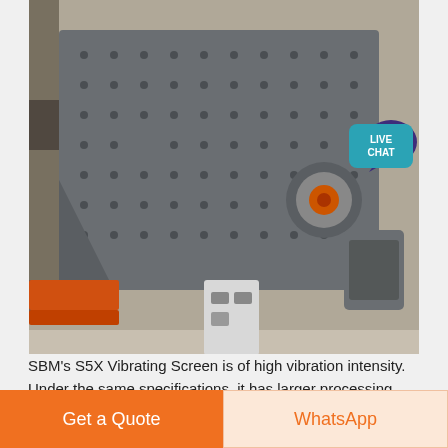[Figure (photo): SBM S5X Vibrating Screen industrial machine in a factory setting, showing the large metal screen body with bolt holes, orange conveyor belt visible at left, motor assembly on the right, and a white control box in the center. Industrial workshop background.]
SBM's S5X Vibrating Screen is of high vibration intensity. Under the same specifications, it has larger processing
crusher plant price chrome bombayortho co in
[Figure (photo): Partial view of a metal structure with parallel horizontal metal slats/louvers, showing steel framing and corrugated metallic surfaces in a factory or warehouse setting.]